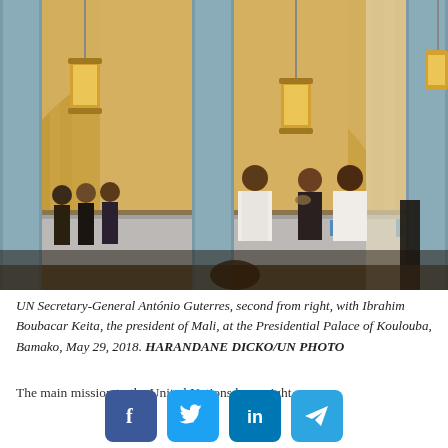[Figure (photo): Interior of the Presidential Palace of Koulouba, Bamako, Mali. Several people in traditional white robes and formal attire stand near a long table. Blue-grey ornate pillars frame the scene. Golden lanterns hang from the ceiling. Curtains are visible in the background.]
UN Secretary-General António Guterres, second from right, with Ibrahim Boubacar Keita, the president of Mali, at the Presidential Palace of Koulouba, Bamako, May 29, 2018. HARANDANE DICKO/UN PHOTO
The main mission to the United Nations has a right...